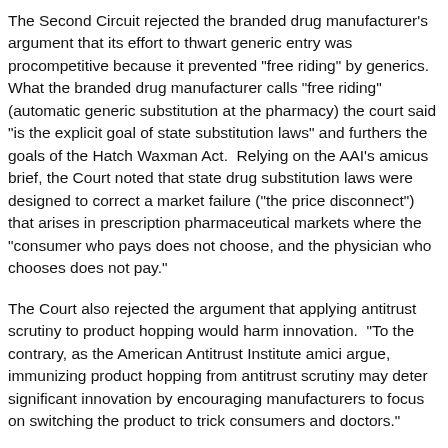The Second Circuit rejected the branded drug manufacturer's argument that its effort to thwart generic entry was procompetitive because it prevented "free riding" by generics. What the branded drug manufacturer calls "free riding" (automatic generic substitution at the pharmacy) the court said "is the explicit goal of state substitution laws" and furthers the goals of the Hatch Waxman Act. Relying on the AAI's amicus brief, the Court noted that state drug substitution laws were designed to correct a market failure ("the price disconnect") that arises in prescription pharmaceutical markets where the "consumer who pays does not choose, and the physician who chooses does not pay."
The Court also rejected the argument that applying antitrust scrutiny to product hopping would harm innovation. "To the contrary, as the American Antitrust Institute amici argue, immunizing product hopping from antitrust scrutiny may deter significant innovation by encouraging manufacturers to focus on switching the product to trick consumers and doctors."